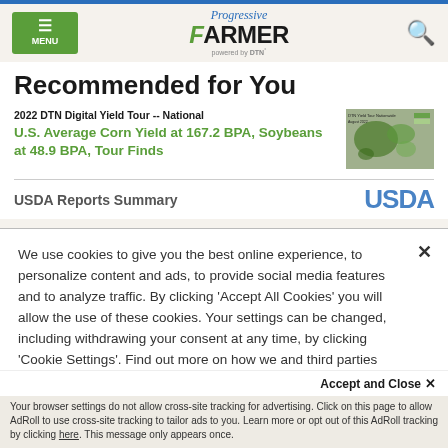Progressive FARMER powered by DTN
Recommended for You
2022 DTN Digital Yield Tour -- National
U.S. Average Corn Yield at 167.2 BPA, Soybeans at 48.9 BPA, Tour Finds
[Figure (map): Thumbnail satellite/map image showing corn yield tour data across the US]
USDA Reports Summary
We use cookies to give you the best online experience, to personalize content and ads, to provide social media features and to analyze traffic. By clicking 'Accept All Cookies' you will allow the use of these cookies. Your settings can be changed, including withdrawing your consent at any time, by clicking 'Cookie Settings'. Find out more on how we and third parties use cookies in our Cookie Policy
Accept and Close ×
Your browser settings do not allow cross-site tracking for advertising. Click on this page to allow AdRoll to use cross-site tracking to tailor ads to you. Learn more or opt out of this AdRoll tracking by clicking here. This message only appears once.